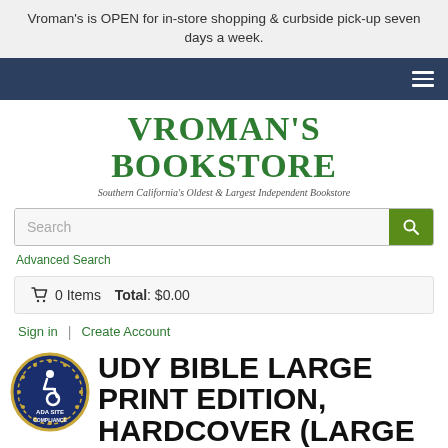Vroman's is OPEN for in-store shopping & curbside pick-up seven days a week.
[Figure (logo): VROMAN'S BOOKSTORE logo with tagline: Southern California's Oldest & Largest Independent Bookstore]
Search
Advanced Search
0 Items  Total: $0.00
Sign in | Create Account
STUDY BIBLE LARGE PRINT EDITION, HARDCOVER (LARGE PRINT / HARDCOVER)